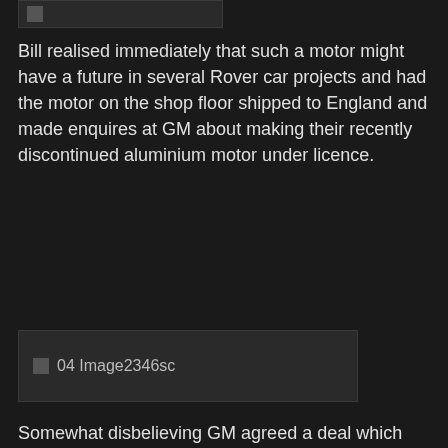[Figure (photo): Partial image at top of page, cropped]
Bill realised immediately that such a motor might have a future in several Rover car projects and had the motor on the shop floor shipped to England and made enquires at GM about making their recently discontinued aluminium motor under licence.
[Figure (photo): 04 Image2346sc]
Somewhat disbelieving GM agreed a deal which eventually included the soon to retire designer of the aluminium Buick 215 Joe Turley who would help prepare the V8 for production in a market that put engines under more stress, no speed limit at the UK at the time, than encountered in its original US application.
[Figure (photo): 05 Image2052sc]
The Buick V8 was first tested in a P6 prototype, but the final iteration of older P5 design seen here, with a B for Buick